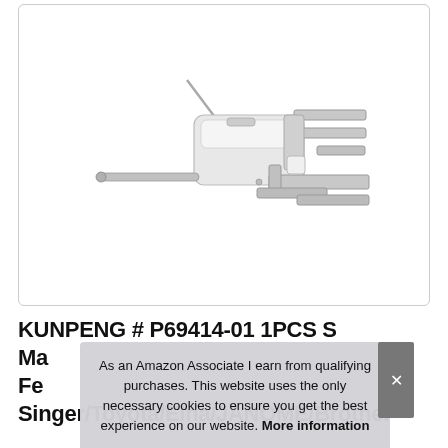[Figure (photo): A sewing machine presser foot attachment with white plastic body and silver/metal tines, shown at an angle against a white background inside a bordered product image box.]
KUNPENG # P69414-01 1PCS Sewing Machine Overcasting Overedge Presser Foot Fits for Singer/Toyota/Elna/JANOME/Brother
As an Amazon Associate I earn from qualifying purchases. This website uses the only necessary cookies to ensure you get the best experience on our website. More information